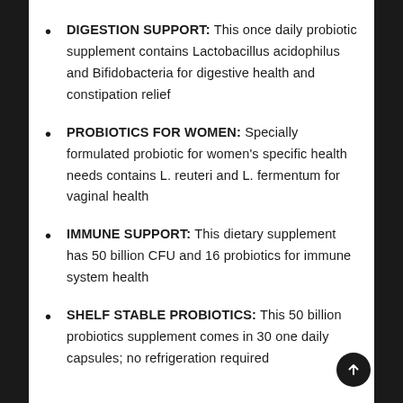DIGESTION SUPPORT: This once daily probiotic supplement contains Lactobacillus acidophilus and Bifidobacteria for digestive health and constipation relief
PROBIOTICS FOR WOMEN: Specially formulated probiotic for women's specific health needs contains L. reuteri and L. fermentum for vaginal health
IMMUNE SUPPORT: This dietary supplement has 50 billion CFU and 16 probiotics for immune system health
SHELF STABLE PROBIOTICS: This 50 billion probiotics supplement comes in 30 one daily capsules; no refrigeration required